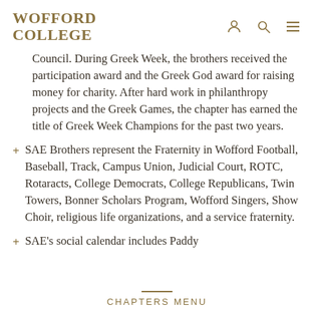WOFFORD COLLEGE
Council. During Greek Week, the brothers received the participation award and the Greek God award for raising money for charity. After hard work in philanthropy projects and the Greek Games, the chapter has earned the title of Greek Week Champions for the past two years.
SAE Brothers represent the Fraternity in Wofford Football, Baseball, Track, Campus Union, Judicial Court, ROTC, Rotaracts, College Democrats, College Republicans, Twin Towers, Bonner Scholars Program, Wofford Singers, Show Choir, religious life organizations, and a service fraternity.
SAE's social calendar includes Paddy
CHAPTERS MENU